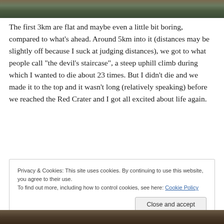[Figure (photo): Top portion of an outdoor nature/trail photograph, showing rocky terrain with green vegetation]
The first 3km are flat and maybe even a little bit boring, compared to what's ahead. Around 5km into it (distances may be slightly off because I suck at judging distances), we got to what people call “the devil’s staircase”, a steep uphill climb during which I wanted to die about 23 times. But I didn’t die and we made it to the top and it wasn’t long (relatively speaking) before we reached the Red Crater and I got all excited about life again.
Privacy & Cookies: This site uses cookies. By continuing to use this website, you agree to their use.
To find out more, including how to control cookies, see here: Cookie Policy
Close and accept
[Figure (photo): Bottom portion of an outdoor nature photograph]